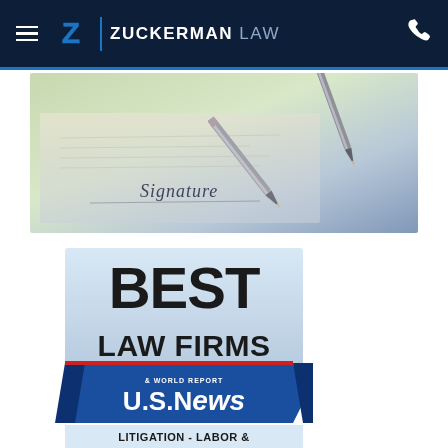Zuckerman Law — Navigation bar with hamburger menu, logo, and phone icon
[Figure (photo): Close-up photo of a pen on a document with the word 'Signature' visible]
[Figure (logo): U.S. News & World Report Best Law Firms badge — Litigation - Labor & Employment category]